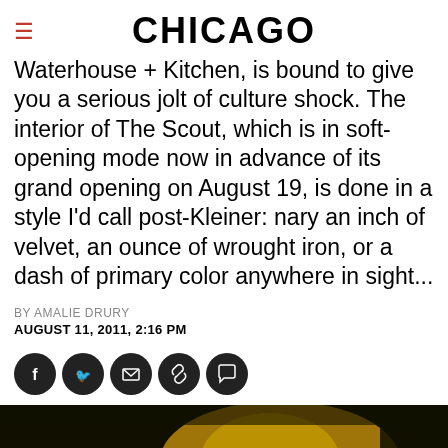CHICAGO
Waterhouse + Kitchen, is bound to give you a serious jolt of culture shock. The interior of The Scout, which is in soft-opening mode now in advance of its grand opening on August 19, is done in a style I'd call post-Kleiner: nary an inch of velvet, an ounce of wrought iron, or a dash of primary color anywhere in sight...
BY AMALIE DRURY
AUGUST 11, 2011, 2:16 PM
[Figure (other): Social sharing icons: Facebook, Twitter, Email, Link, Comment]
[Figure (photo): Dark photograph showing a warm yellowish-golden object against a very dark background, appears to be interior restaurant decor]